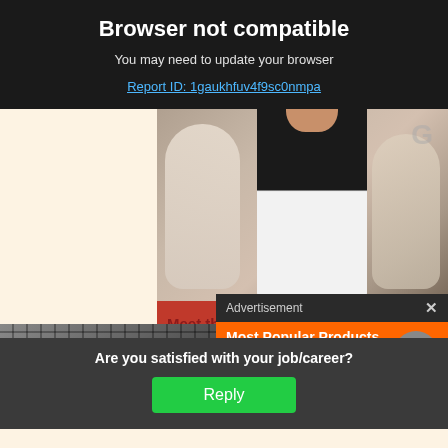Browser not compatible
You may need to update your browser
Report ID: 1gaukhfuv4f9sc0nmpa
[Figure (photo): Fashion designer woman smiling near mannequins]
Meet the eng... IT consu...
READ M...
[Figure (screenshot): Advertisement overlay: Most Popular Products updated Weekly! with orange background and shopping icons]
[Figure (photo): Blurred background photo at bottom]
Are you satisfied with your job/career?
Reply